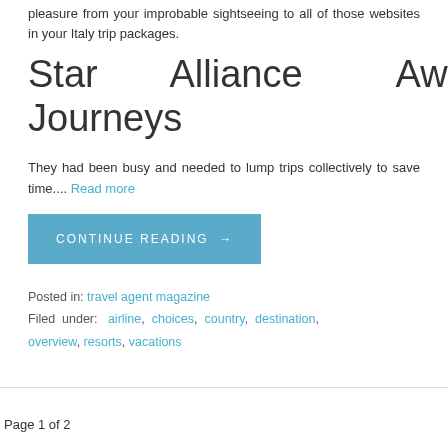pleasure from your improbable sightseeing to all of those websites in your Italy trip packages.
Star Alliance Award Journeys
They had been busy and needed to lump trips collectively to save time.... Read more
CONTINUE READING →
Posted in: travel agent magazine
Filed under: airline, choices, country, destination, overview, resorts, vacations
Page 1 of 2